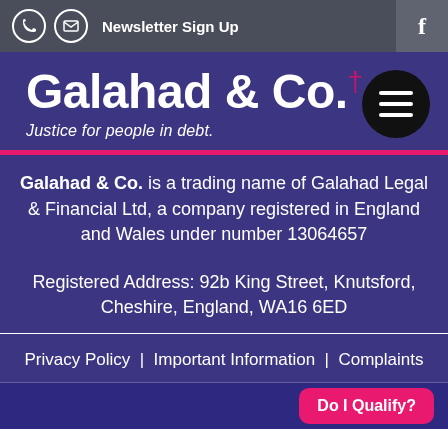Newsletter Sign Up
Galahad & Co.†
Justice for people in debt.
Galahad & Co. is a trading name of Galahad Legal & Financial Ltd, a company registered in England and Wales under number 13064657
Registered Address: 92b King Street, Knutsford, Cheshire, England, WA16 6ED
Privacy Policy | Important Information | Complaints
Do I Qualify?